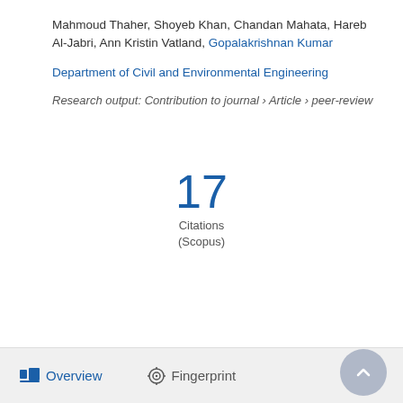Mahmoud Thaher, Shoyeb Khan, Chandan Mahata, Hareb Al-Jabri, Ann Kristin Vatland, Gopalakrishnan Kumar
Department of Civil and Environmental Engineering
Research output: Contribution to journal › Article › peer-review
17
Citations
(Scopus)
Overview   Fingerprint